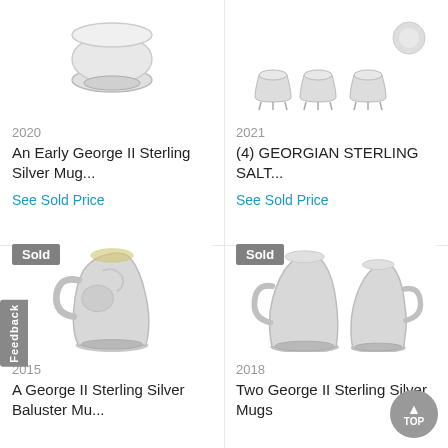[Figure (photo): Sterling silver mug, partial top view, white background]
2020
An Early George II Sterling Silver Mug...
See Sold Price
[Figure (photo): Four Georgian sterling silver salt cellars on legs, white background]
2021
(4) GEORGIAN STERLING SALT...
See Sold Price
[Figure (photo): George II Sterling Silver Baluster mug with ornate repousse decoration, sold badge]
2015
A George II Sterling Silver Baluster Mu...
[Figure (photo): Two George II sterling silver mugs side by side, sold badge]
2018
Two George II Sterling Silver Mugs